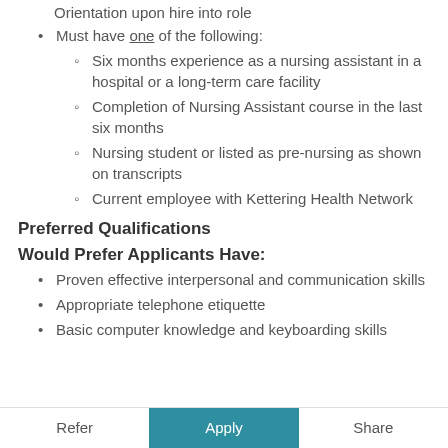Orientation upon hire into role
Must have one of the following:
Six months experience as a nursing assistant in a hospital or a long-term care facility
Completion of Nursing Assistant course in the last six months
Nursing student or listed as pre-nursing as shown on transcripts
Current employee with Kettering Health Network
Preferred Qualifications
Would Prefer Applicants Have:
Proven effective interpersonal and communication skills
Appropriate telephone etiquette
Basic computer knowledge and keyboarding skills
Refer | Apply | Share